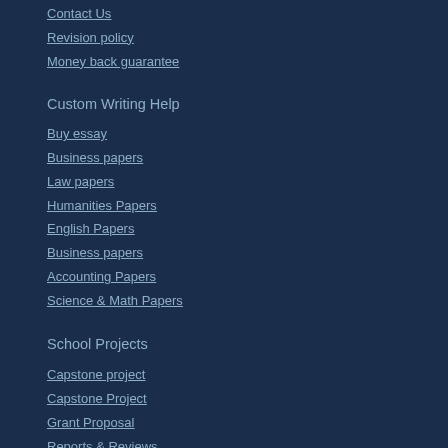Contact Us
Revision policy
Money back guarantee
Custom Writing Help
Buy essay
Business papers
Law papers
Humanities Papers
English Papers
Business papers
Accounting Papers
Science & Math Papers
School Projects
Capstone project
Capstone Project
Grant Proposal
Reports & Reviews